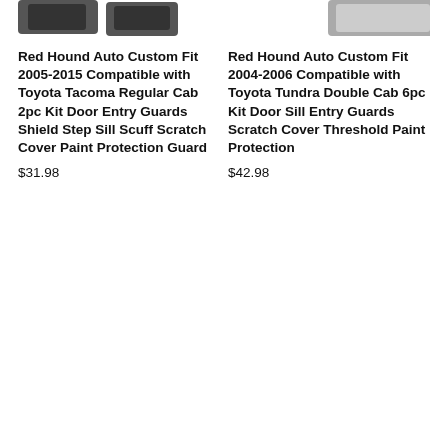[Figure (photo): Partial product image showing dark automotive door sill guards at top left]
Red Hound Auto Custom Fit 2005-2015 Compatible with Toyota Tacoma Regular Cab 2pc Kit Door Entry Guards Shield Step Sill Scuff Scratch Cover Paint Protection Guard
$31.98
[Figure (photo): Partial product image showing automotive door sill guard at top right]
Red Hound Auto Custom Fit 2004-2006 Compatible with Toyota Tundra Double Cab 6pc Kit Door Sill Entry Guards Scratch Cover Threshold Paint Protection
$42.98